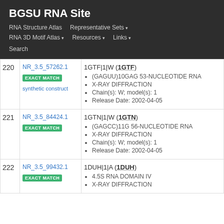BGSU RNA Site
RNA Structure Atlas   Representative Sets ▾   RNA 3D Motif Atlas ▾   Resources ▾   Links ▾   Search
| # | NR ID / Badge | Structure Details |
| --- | --- | --- |
| 220 | NR_3.5_57262.1
EXACT MATCH
synthetic construct | 1GTF|1|W (1GTF)
• (GAGUU)10GAG 53-NUCLEOTIDE RNA
• X-RAY DIFFRACTION
• Chain(s): W; model(s): 1
• Release Date: 2002-04-05 |
| 221 | NR_3.5_84424.1
EXACT MATCH | 1GTN|1|W (1GTN)
• (GAGCC)11G 56-NUCLEOTIDE RNA
• X-RAY DIFFRACTION
• Chain(s): W; model(s): 1
• Release Date: 2002-04-05 |
| 222 | NR_3.5_99432.1
EXACT MATCH | 1DUH|1|A (1DUH)
• 4.5S RNA DOMAIN IV
• X-RAY DIFFRACTION |